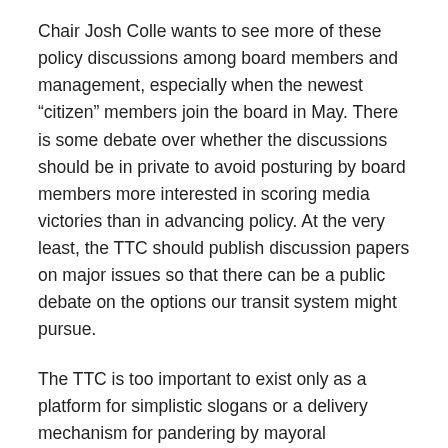Chair Josh Colle wants to see more of these policy discussions among board members and management, especially when the newest “citizen” members join the board in May. There is some debate over whether the discussions should be in private to avoid posturing by board members more interested in scoring media victories than in advancing policy. At the very least, the TTC should publish discussion papers on major issues so that there can be a public debate on the options our transit system might pursue.
The TTC is too important to exist only as a platform for simplistic slogans or a delivery mechanism for pandering by mayoral candidates.
Share this: